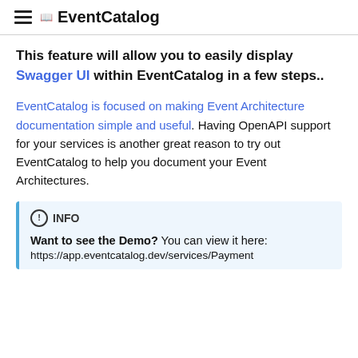☰ 📖 EventCatalog
This feature will allow you to easily display Swagger UI within EventCatalog in a few steps..
EventCatalog is focused on making Event Architecture documentation simple and useful. Having OpenAPI support for your services is another great reason to try out EventCatalog to help you document your Event Architectures.
INFO
Want to see the Demo? You can view it here:
https://app.eventcatalog.dev/services/Payment